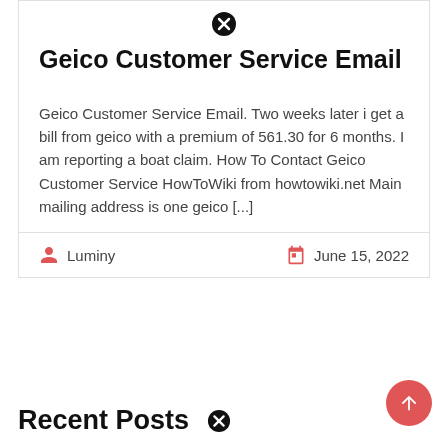Geico Customer Service Email
Geico Customer Service Email. Two weeks later i get a bill from geico with a premium of 561.30 for 6 months. I am reporting a boat claim. How To Contact Geico Customer Service HowToWiki from howtowiki.net Main mailing address is one geico [...]
Luminy  |  June 15, 2022
Recent Posts